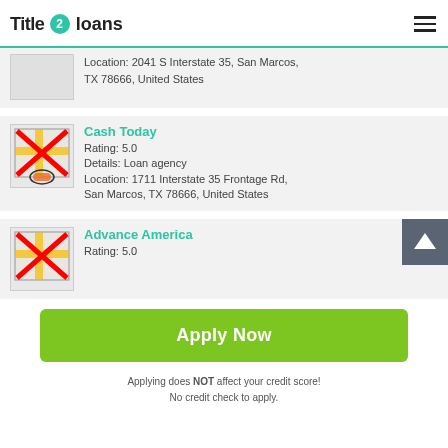Title 2 loans
Location: 2041 S Interstate 35, San Marcos, TX 78666, United States
Cash Today
Rating: 5.0
Details: Loan agency
Location: 1711 Interstate 35 Frontage Rd, San Marcos, TX 78666, United States
Advance America
Rating: 5.0
Apply Now
Applying does NOT affect your credit score!
No credit check to apply.